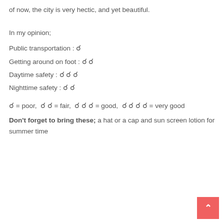of now, the city is very hectic, and yet beautiful.
In my opinion;
Public transportation : ✪
Getting around on foot : ✪ ✪
Daytime safety : ✪ ✪ ✪
Nighttime safety : ✪ ✪
✪ = poor,  ✪ ✪ = fair,  ✪ ✪ ✪ = good,  ✪ ✪ ✪ ✪ = very good
Don't forget to bring these; a hat or a cap and sun screen lotion for summer time